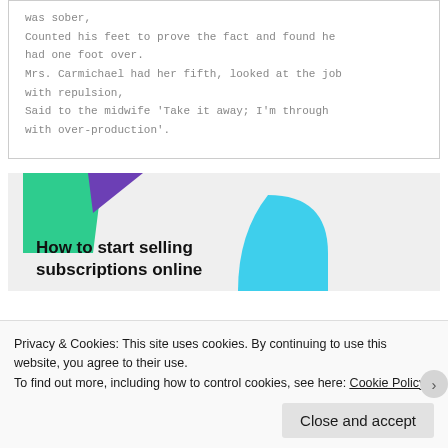was sober,
Counted his feet to prove the fact and found he had one foot over.
Mrs. Carmichael had her fifth, looked at the job with repulsion,
Said to the midwife 'Take it away; I'm through with over-production'.
[Figure (illustration): Advertisement banner with green triangle and blue curved shape, text reading 'How to start selling subscriptions online']
Privacy & Cookies: This site uses cookies. By continuing to use this website, you agree to their use.
To find out more, including how to control cookies, see here: Cookie Policy
Close and accept
WordPress Works Best